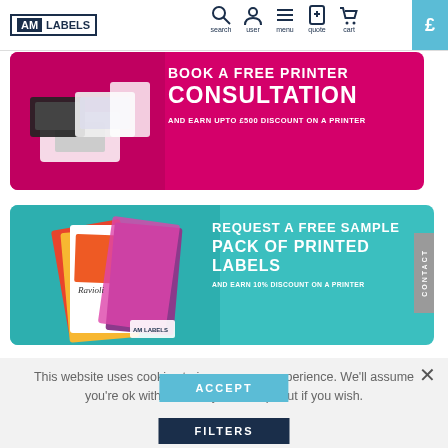AM LABELS | search | user | menu | quote | cart | £
[Figure (infographic): Pink/magenta promotional banner with printers image on left. Text: BOOK A FREE PRINTER CONSULTATION AND EARN UPTO £500 DISCOUNT ON A PRINTER]
[Figure (infographic): Teal promotional banner with printed label samples on left. Text: REQUEST A FREE SAMPLE PACK OF PRINTED LABELS AND EARN 10% DISCOUNT ON A PRINTER. CONTACT tab on right side.]
This website uses cookies to improve your experience. We'll assume you're ok with this, but you can opt-out if you wish.
ACCEPT
FILTERS